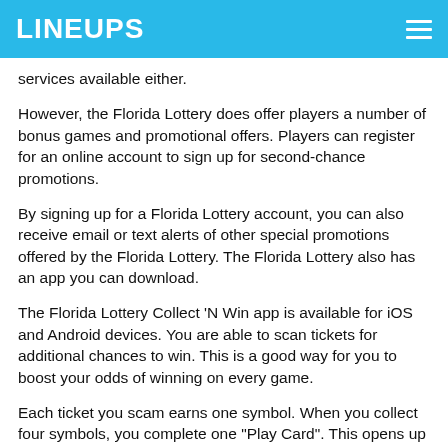LINEUPS
services available either.
However, the Florida Lottery does offer players a number of bonus games and promotional offers. Players can register for an online account to sign up for second-chance promotions.
By signing up for a Florida Lottery account, you can also receive email or text alerts of other special promotions offered by the Florida Lottery. The Florida Lottery also has an app you can download.
The Florida Lottery Collect 'N Win app is available for iOS and Android devices. You are able to scan tickets for additional chances to win. This is a good way for you to boost your odds of winning on every game.
Each ticket you scam earns one symbol. When you collect four symbols, you complete one "Play Card". This opens up an